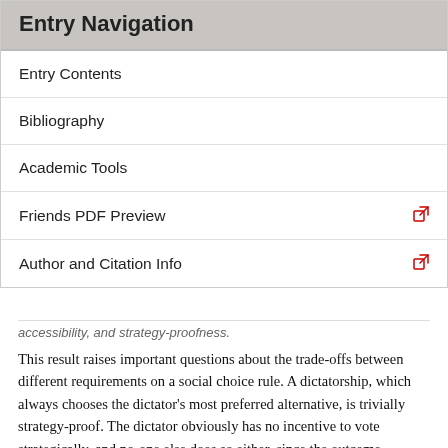Entry Navigation
Entry Contents
Bibliography
Academic Tools
Friends PDF Preview
Author and Citation Info
accessibility, and strategy-proofness.
This result raises important questions about the trade-offs between different requirements on a social choice rule. A dictatorship, which always chooses the dictator’s most preferred alternative, is trivially strategy-proof. The dictator obviously has no incentive to vote strategically, and no-one else does so either, since the outcome depends only on the dictator.
To see that the Borda count violates strategy-proofness, recall the example of Tables 3 and 4 above. If Individual 1 is Table 3, and follows its true preferences, then...